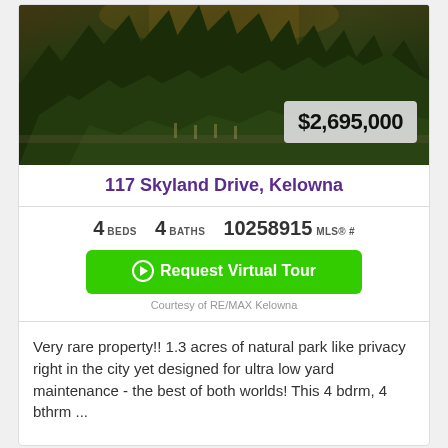[Figure (photo): Exterior photo of property at 117 Skyland Drive showing trees and natural vegetation at dusk with a price badge showing $2,695,000]
117 Skyland Drive, Kelowna
4 BEDS   4 BATHS   10258915 MLS® #
Request Virtual Tour
Courtesy of RE/MAX Kelowna
Very rare property!! 1.3 acres of natural park like privacy right in the city yet designed for ultra low yard maintenance - the best of both worlds! This 4 bdrm, 4 bthrm ...